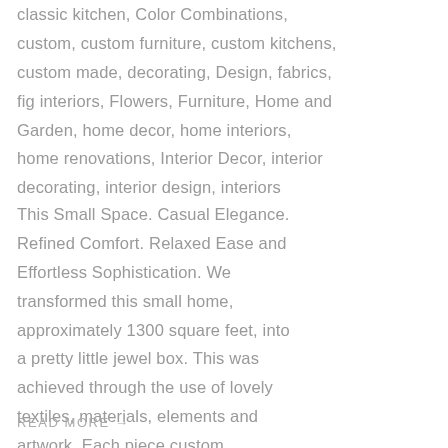classic kitchen, Color Combinations, custom, custom furniture, custom kitchens, custom made, decorating, Design, fabrics, fig interiors, Flowers, Furniture, Home and Garden, home decor, home interiors, home renovations, Interior Decor, interior decorating, interior design, interiors
This Small Space. Casual Elegance. Refined Comfort. Relaxed Ease and Effortless Sophistication. We transformed this small home, approximately 1300 square feet, into a pretty little jewel box. This was achieved through the use of lovely textiles, materials, elements and artwork. Each piece custom...
READ MORE →